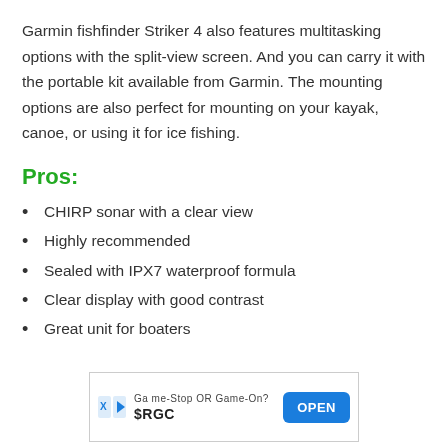Garmin fishfinder Striker 4 also features multitasking options with the split-view screen. And you can carry it with the portable kit available from Garmin. The mounting options are also perfect for mounting on your kayak, canoe, or using it for ice fishing.
Pros:
CHIRP sonar with a clear view
Highly recommended
Sealed with IPX7 waterproof formula
Clear display with good contrast
Great unit for boaters
[Figure (other): Advertisement banner: Game-Stop OR Game-On? $RGC with OPEN button]